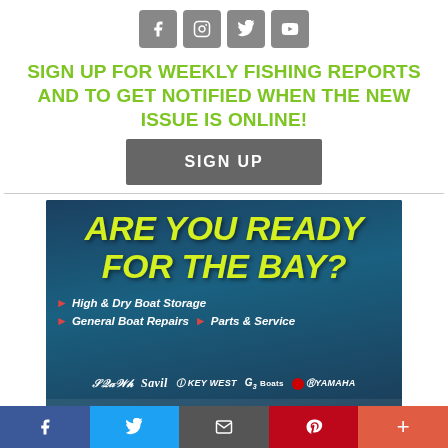[Figure (other): Row of four social media icons: Facebook, Instagram, Twitter, YouTube — grey rounded square buttons]
SIGN UP FOR WEEKLY FISHING REPORTS AND TO GET NOTIFIED WHEN THE NEW ISSUE IS ONLINE!
SIGN UP
[Figure (infographic): Advertisement banner: 'ARE YOU READY FOR THE BAY?' in large yellow italic text on dark blue water background. Services listed: High & Dry Boat Storage, General Boat Repairs, Parts & Service. Brand logos: Skeeter Boats, Key West, G3 Boats, Yamaha. Bottom shows partial ANCHOR logo.]
[Figure (other): Social share bar at bottom: Facebook (blue), Twitter (light blue), Email (dark grey), Pinterest (red), More (orange-red) buttons]